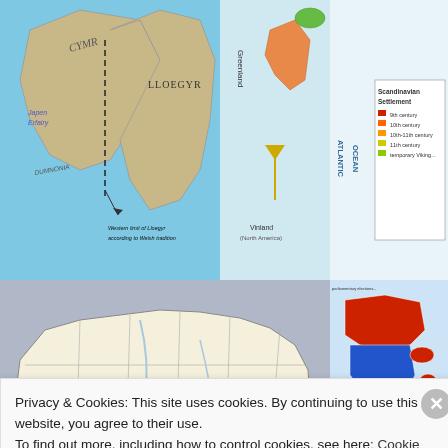[Figure (map): Map of Wales (Cymru) and England (Lloegyr) with regions labeled: Japen Erfairy, Dumnonia. Dashed line shows Western limit of Lloegyr according to Welsh tradition. Blue surrounding sea.]
[Figure (map): Composite map showing Greenland, Atlantic Ocean, Vinland (North America), and a legend for Scandinavian Settlement showing color-coded settlement periods.]
[Figure (map): Map of Ukraine showing administrative regions/oblasts with white interior and gray borders on gray background, with blue sea areas to the south (Black Sea, Azov Sea) and Crimea peninsula.]
[Figure (map): Map of Greece showing regions color-coded in red, blue, and green, with a legend at bottom.]
[Figure (map): Map of Iraq and surrounding region showing rivers (Tigris, Euphrates) on tan/beige background with blue water areas.]
Privacy & Cookies: This site uses cookies. By continuing to use this website, you agree to their use.
To find out more, including how to control cookies, see here: Cookie Policy
Close and accept